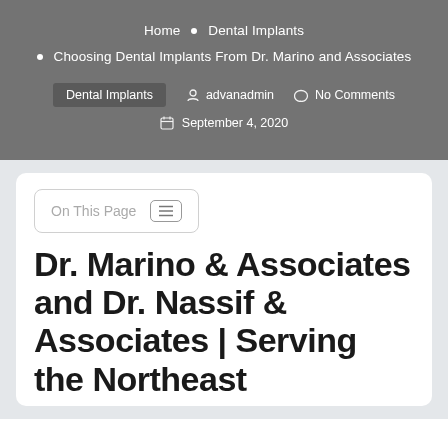Home • Dental Implants • Choosing Dental Implants From Dr. Marino and Associates
Dental Implants   advanadmin   No Comments   September 4, 2020
On This Page
Dr. Marino & Associates and Dr. Nassif & Associates | Serving the Northeast